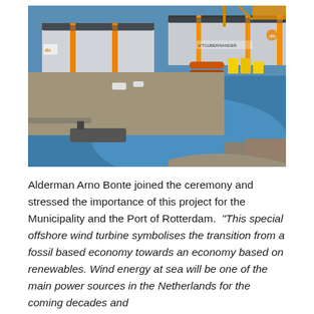[Figure (photo): Aerial view of a port facility showing industrial buildings with orange and yellow accents, pipe storage areas, a harbor basin with blue water, and cranes in the background. The facility appears to be an offshore wind turbine manufacturing or assembly site at the Port of Rotterdam.]
Alderman Arno Bonte joined the ceremony and stressed the importance of this project for the Municipality and the Port of Rotterdam. “This special offshore wind turbine symbolises the transition from a fossil based economy towards an economy based on renewables. Wind energy at sea will be one of the main power sources in the Netherlands for the coming decades and